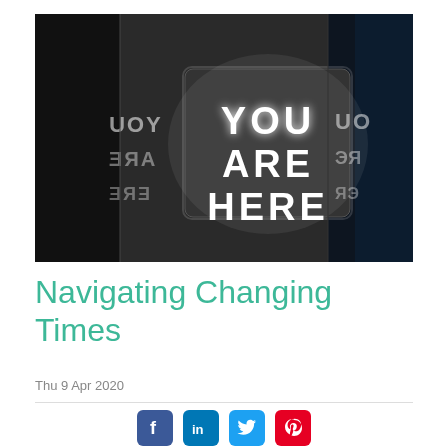[Figure (photo): A neon sign reading 'YOU ARE HERE' glowing white against a dark background, with mirror reflections on the sides]
Navigating Changing Times
Thu 9 Apr 2020
[Figure (infographic): Social media sharing icons: Facebook, LinkedIn, Twitter, Pinterest]